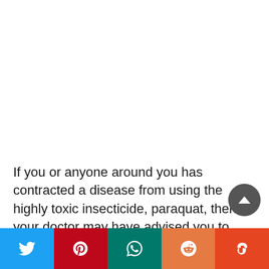If you or anyone around you has contracted a disease from using the highly toxic insecticide, paraquat, then your doctor may have advised you to seek financial compensation for your suffering. As it turns out, there are quite a number of
[Figure (other): Social media sharing bar with Twitter (blue), Pinterest (red), WhatsApp (teal), Reddit (orange), and StumbleUpon (dark orange) buttons at the bottom of the page]